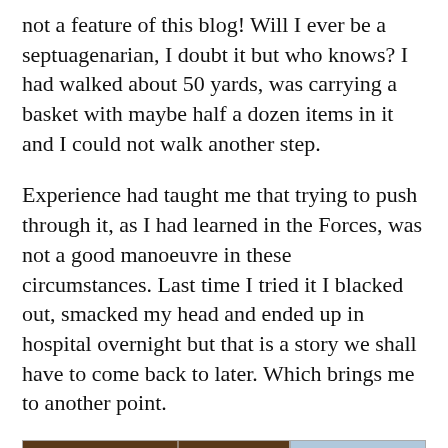not a feature of this blog! Will I ever be a septuagenarian, I doubt it but who knows? I had walked about 50 yards, was carrying a basket with maybe half a dozen items in it and I could not walk another step.
Experience had taught me that trying to push through it, as I had learned in the Forces, was not a good manoeuvre in these circumstances. Last time I tried it I blacked out, smacked my head and ended up in hospital overnight but that is a story we shall have to come back to later. Which brings me to another point.
[Figure (photo): Two photographs side by side at the bottom of the page. Left photo shows the interior of a pub or old building with ornate wooden panelling, columns, and a hanging globe light. Right photo shows an outdoor street scene with houses and a lamppost.]